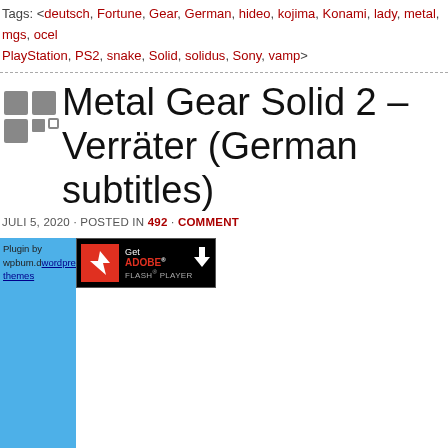Tags: <deutsch, Fortune, Gear, German, hideo, kojima, Konami, lady, metal, mgs, ocel PlayStation, PS2, snake, Solid, solidus, Sony, vamp>
Metal Gear Solid 2 – Verräter (German subtitles)
JULI 5, 2020 · POSTED IN 492 · COMMENT
[Figure (screenshot): Adobe Flash Player plugin prompt and plugin loading area with 'Couldn't load plugin.' message]
Couldn't load plugin.